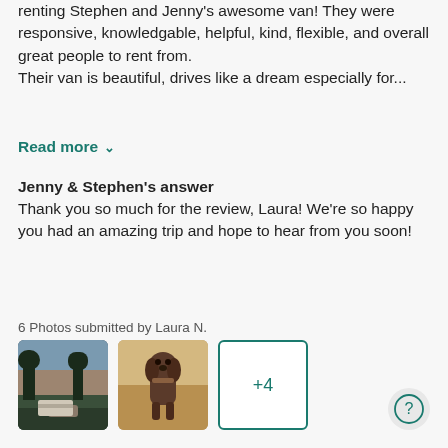renting Stephen and Jenny's awesome van! They were responsive, knowledgable, helpful, kind, flexible, and overall great people to rent from.
Their van is beautiful, drives like a dream especially for...
Read more ˅
Jenny & Stephen's answer
Thank you so much for the review, Laura! We're so happy you had an amazing trip and hope to hear from you soon!
6 Photos submitted by Laura N.
[Figure (photo): Outdoor camping scene with trees and a van at dusk]
[Figure (photo): A dog standing in a field with dry grass]
[Figure (other): +4 more photos button with teal border]